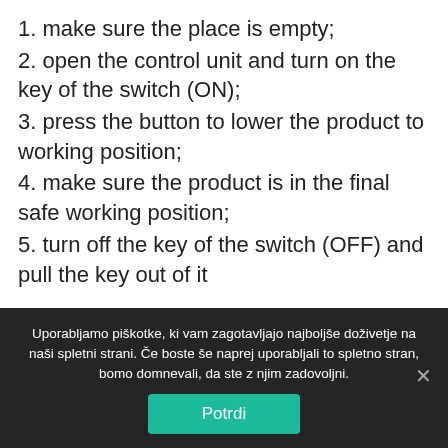1. make sure the place is empty;
2. open the control unit and turn on the key of the switch (ON);
3. press the button to lower the product to working position;
4. make sure the product is in the final safe working position;
5. turn off the key of the switch (OFF) and pull the key out of it
Uporabljamo piškotke, ki vam zagotavljajo najboljše doživetje na naši spletni strani. Če boste še naprej uporabljali to spletno stran, bomo domnevali, da ste z njim zadovoljni.